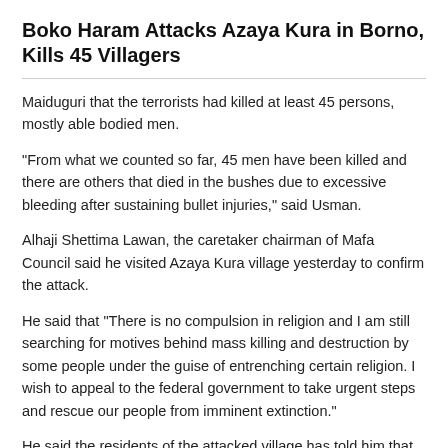Boko Haram Attacks Azaya Kura in Borno, Kills 45 Villagers
Maiduguri that the terrorists had killed at least 45 persons, mostly able bodied men.
"From what we counted so far, 45 men have been killed and there are others that died in the bushes due to excessive bleeding after sustaining bullet injuries," said Usman.
Alhaji Shettima Lawan, the caretaker chairman of Mafa Council said he visited Azaya Kura village yesterday to confirm the attack.
He said that “There is no compulsion in religion and I am still searching for motives behind mass killing and destruction by some people under the guise of entrenching certain religion. I wish to appeal to the federal government to take urgent steps and rescue our people from imminent extinction.”
He said the residents of the attacked village has told him that over 50 motorcycles and four cars were burnt by the attackers while four